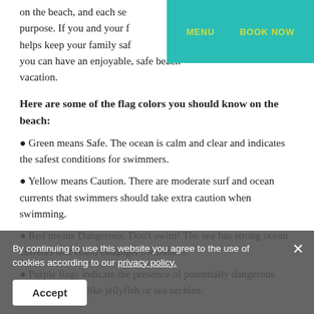on the beach, and each se purpose. If you and your f helps keep your family saf you can have an enjoyable, safe beach vacation.
MENU    BOOK NOW
Here are some of the flag colors you should know on the beach:
● Green means Safe. The ocean is calm and clear and indicates the safest conditions for swimmers.
● Yellow means Caution. There are moderate surf and ocean currents that swimmers should take extra caution when swimming.
● Red means Dangerous. Don't swim! The sea has strong ocean currents that could endanger swimmers.
● Purple flags indicate the presence of potentially dangerous marine animals like jellyfish or sea urchins.
By continuing to use this website you agree to the use of cookies according to our privacy policy.